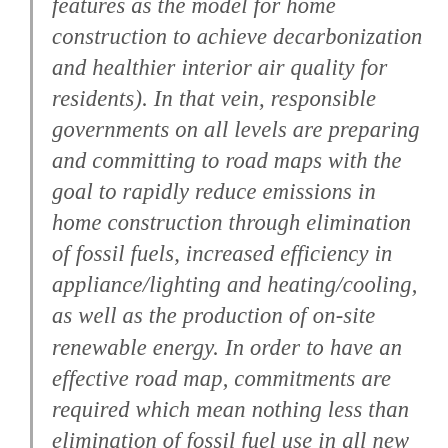features as the model for home construction to achieve decarbonization and healthier interior air quality for residents). In that vein, responsible governments on all levels are preparing and committing to road maps with the goal to rapidly reduce emissions in home construction through elimination of fossil fuels, increased efficiency in appliance/lighting and heating/cooling, as well as the production of on-site renewable energy. In order to have an effective road map, commitments are required which mean nothing less than elimination of fossil fuel use in all new